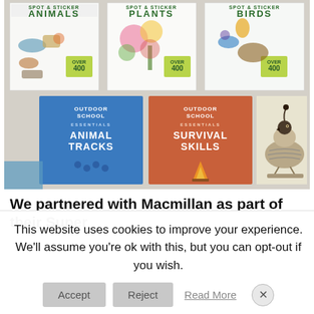[Figure (illustration): Grid of book covers showing Outdoor School series: top row has Spot & Sticker Animals, Plants, and Birds (each with 'Over 400' badge); bottom row has Outdoor School Essentials Animal Tracks (blue cover) and Survival Skills (orange cover), plus a detailed bird illustration on the right.]
We partnered with Macmillan as part of their Super
This website uses cookies to improve your experience. We'll assume you're ok with this, but you can opt-out if you wish.
Accept
Reject
Read More